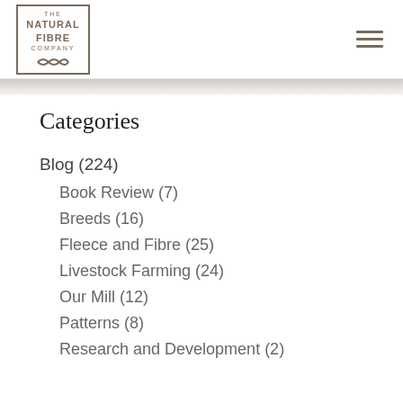[Figure (logo): The Natural Fibre Company logo in a square border with decorative knot/weave ornament at bottom]
Categories
Blog (224)
Book Review (7)
Breeds (16)
Fleece and Fibre (25)
Livestock Farming (24)
Our Mill (12)
Patterns (8)
Research and Development (2)